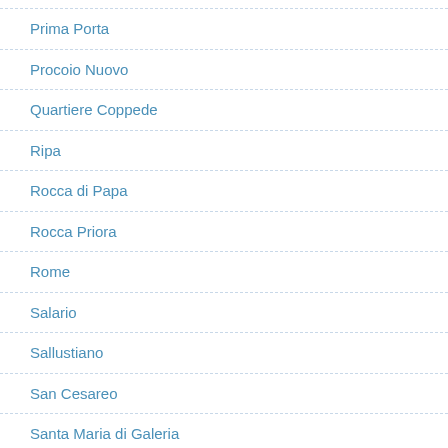Prima Porta
Procoio Nuovo
Quartiere Coppede
Ripa
Rocca di Papa
Rocca Priora
Rome
Salario
Sallustiano
San Cesareo
Santa Maria di Galeria
Santa Palomba